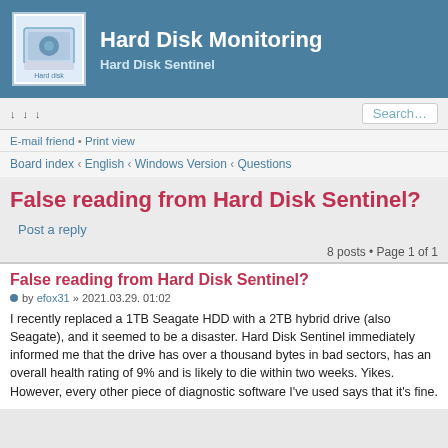Hard Disk Monitoring — Hard Disk Sentinel
↓ ↓ ↓  Search…
E-mail friend • Print view
Board index ‹ English ‹ Windows Version ‹ Questions
False reading from Hard Disk Sentinel?
Post a reply
8 posts • Page 1 of 1
False reading from Hard Disk Sentinel?
by efox31 » 2021.03.29. 01:02
I recently replaced a 1TB Seagate HDD with a 2TB hybrid drive (also Seagate), and it seemed to be a disaster. Hard Disk Sentinel immediately informed me that the drive has over a thousand bytes in bad sectors, has an overall health rating of 9% and is likely to die within two weeks. Yikes. However, every other piece of diagnostic software I've used says that it's fine.